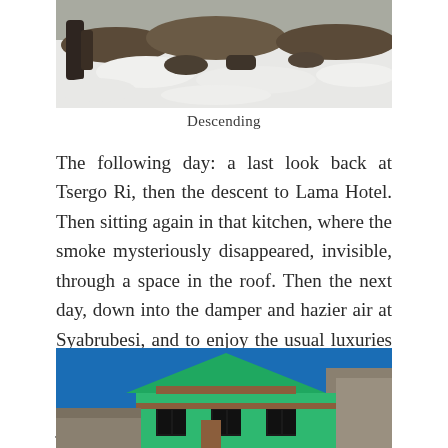[Figure (photo): Snow-covered ground with rocks and tree roots, descending mountain scene]
Descending
The following day: a last look back at Tsergo Ri, then the descent to Lama Hotel. Then sitting again in that kitchen, where the smoke mysteriously disappeared, invisible, through a space in the roof. Then the next day, down into the damper and hazier air at Syabrubesi, and to enjoy the usual luxuries of a softer bed, a warmer room, and richer food, before getting in to our jeep and the journey back to Kathmandu.
[Figure (photo): A green-roofed building against a deep blue sky in a mountain village, likely Syabrubesi or similar Nepali trekking town]